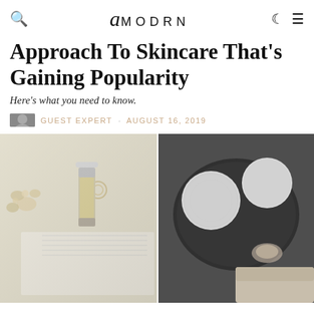amodrn
Approach To Skincare That's Gaining Popularity
Here's what you need to know.
Guest Expert · August 16, 2019
[Figure (photo): Two side-by-side photos: left shows a skincare serum/oil bottle on an open book with dried flowers and a ring; right shows white fluffy cotton pads in a dark bowl with a crystal pendant and beige background.]